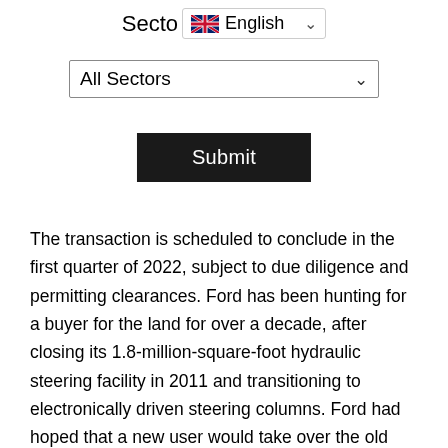Sector English ▾
All Sectors ▾
Submit
The transaction is scheduled to conclude in the first quarter of 2022, subject to due diligence and permitting clearances. Ford has been hunting for a buyer for the land for over a decade, after closing its 1.8-million-square-foot hydraulic steering facility in 2011 and transitioning to electronically driven steering columns. Ford had hoped that a new user would take over the old building, but after failing to obtain an